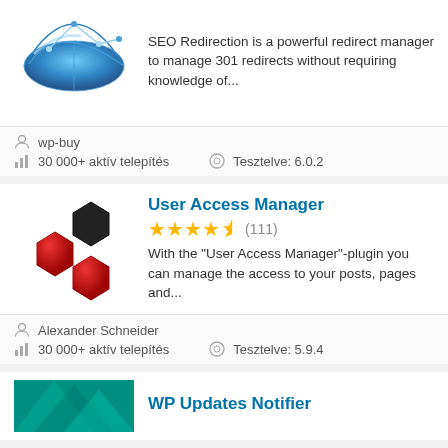SEO Redirection is a powerful redirect manager to manage 301 redirects without requiring knowledge of...
wp-buy
30 000+ aktív telepítés
Tesztelve: 6.0.2
User Access Manager
4.5 stars (111)
With the "User Access Manager"-plugin you can manage the access to your posts, pages and...
Alexander Schneider
30 000+ aktív telepítés
Tesztelve: 5.9.4
WP Updates Notifier